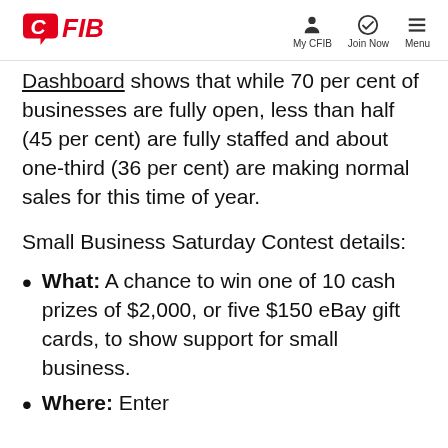CFIB | My CFIB | Join Now | Menu
Dashboard shows that while 70 per cent of businesses are fully open, less than half (45 per cent) are fully staffed and about one-third (36 per cent) are making normal sales for this time of year.
Small Business Saturday Contest details:
What: A chance to win one of 10 cash prizes of $2,000, or five $150 eBay gift cards, to show support for small business.
Where: Enter